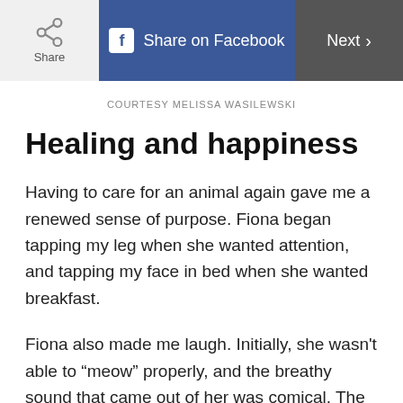Share | Share on Facebook | Next >
COURTESY MELISSA WASILEWSKI
Healing and happiness
Having to care for an animal again gave me a renewed sense of purpose. Fiona began tapping my leg when she wanted attention, and tapping my face in bed when she wanted breakfast.
Fiona also made me laugh. Initially, she wasn't able to “meow” properly, and the breathy sound that came out of her was comical. The way she attacked her toys was also funny. She even began laying in